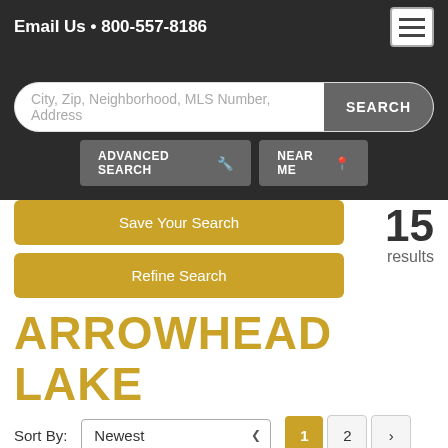Email Us • 800-557-8186
City, Zip, Neighborhood, MLS Number, Address
SEARCH
ADVANCED SEARCH 🔧
NEAR ME 📍
Save Your Search
15 results
Refine Search
ARROWHEAD LAKE
Sort By: Newest
1 2 ›